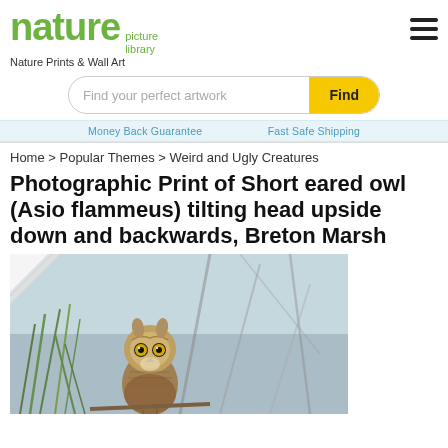nature picture library
Nature Prints & Wall Art
Find your perfect artwork
Home > Popular Themes > Weird and Ugly Creatures
Photographic Print of Short eared owl (Asio flammeus) tilting head upside down and backwards, Breton Marsh
[Figure (photo): A short eared owl (Asio flammeus) with its head tilted upside down and backwards, perched among marsh grasses and branches, Breton Marsh. Photo shown as a print with a curled corner effect.]